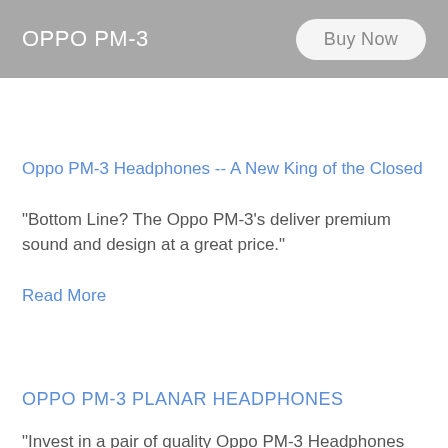OPPO PM-3
Oppo PM-3 Headphones -- A New King of the Closed
"Bottom Line? The Oppo PM-3's deliver premium sound and design at a great price."
Read More
OPPO PM-3 PLANAR HEADPHONES
"Invest in a pair of quality Oppo PM-3 Headphones and let your ears experience true sound."